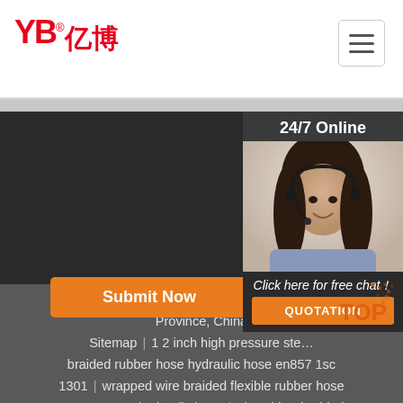[Figure (logo): YB Yibo company logo in red with Chinese characters]
[Figure (photo): Customer service agent photo with '24/7 Online' label and chat panel]
Submit Now
No.11, Yangshan Road, Shaoling District, Luoyang Province, China
Sitemap | 1 2 inch high pressure steel wire braided rubber hose hydraulic hose en857 1sc 1301 | wrapped wire braided flexible rubber hose r1 r2 1sn 2sn hydraulic hose | nbr rubber braided fabric fuel oil hose